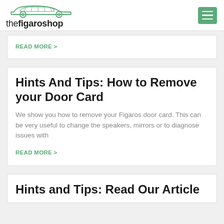thefigaroshop
READ MORE >
Hints And Tips: How to Remove your Door Card
We show you how to remove your Figaros door card. This can be very useful to change the speakers, mirrors or to diagnose issues with
READ MORE >
Hints and Tips: Read Our Article